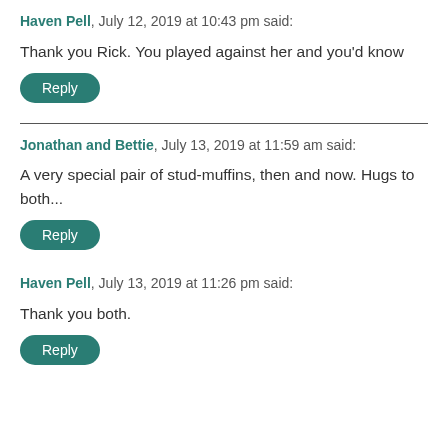Haven Pell, July 12, 2019 at 10:43 pm said:
Thank you Rick. You played against her and you'd know
Reply
Jonathan and Bettie, July 13, 2019 at 11:59 am said:
A very special pair of stud-muffins, then and now. Hugs to both...
Reply
Haven Pell, July 13, 2019 at 11:26 pm said:
Thank you both.
Reply